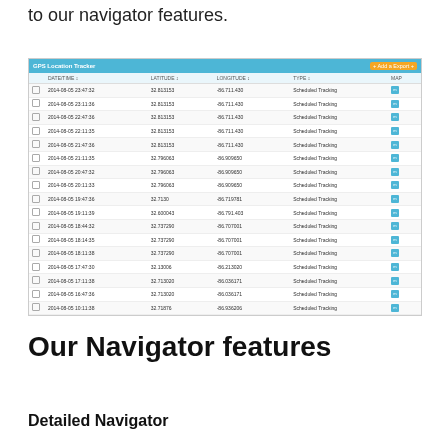to our navigator features.
[Figure (screenshot): GPS Location Tracker table screenshot showing date/time, latitude, longitude, type (Scheduled Tracking), and map columns with 18 data rows]
Our Navigator features
Detailed Navigator